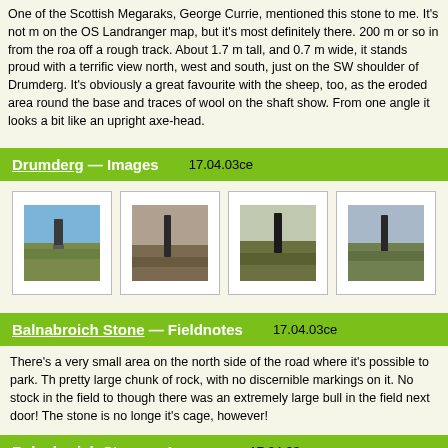One of the Scottish Megaraks, George Currie, mentioned this stone to me. It's not marked on the OS Landranger map, but it's most definitely there. 200 m or so in from the road, off a rough track. About 1.7 m tall, and 0.7 m wide, it stands proud with a terrific view north, west and south, just on the SW shoulder of Drumderg. It's obviously a great favourite with the sheep, too, as the eroded area round the base and traces of wool on the shaft show. From one angle it looks a bit like an upright axe-head.
Drumderg — Images    17.04.03ce
[Figure (photo): Four photos of a standing stone at Drumderg, shown from different angles, set in moorland landscape]
Balnabroich Stone — Fieldnotes    17.04.03ce
There's a very small area on the north side of the road where it's possible to park. The pretty large chunk of rock, with no discernible markings on it. No stock in the field too, though there was an extremely large bull in the field next door! The stone is no longer in it's cage, however!
Balnabroich Stone — Images    17.04.03ce